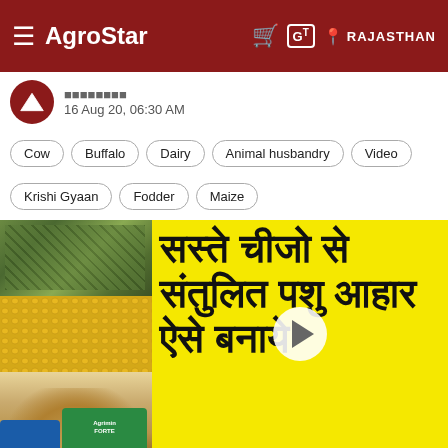AgroStar — RAJASTHAN
16 Aug 20, 06:30 AM
Cow
Buffalo
Dairy
Animal husbandry
Video
Krishi Gyaan
Fodder
Maize
[Figure (screenshot): Video thumbnail showing farm ingredients on left (dried leaves, corn/maize kernels, sand/grain, fertilizer bag) and yellow background with Hindi text reading 'सस्ते चीजो से संतुलित पशु आहार ऐसे बनाये' with a play button overlay]